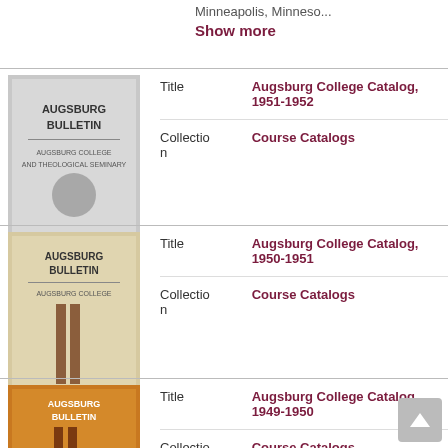Minneapolis, Minneso...
Show more
[Figure (illustration): Augsburg Bulletin book cover, gray/silver, with AUGSBURG BULLETIN text and emblem]
Title: Augsburg College Catalog, 1951-1952 | Collection: Course Catalogs
[Figure (illustration): Augsburg Bulletin book cover, tan/beige with brown stripes, AUGSBURG BULLETIN text]
Title: Augsburg College Catalog, 1950-1951 | Collection: Course Catalogs
[Figure (illustration): Augsburg Bulletin book cover, orange/gold, with AUGSBURG BULLETIN text and brown stripes]
Title: Augsburg College Catalog, 1949-1950 | Collection: Course Catalogs